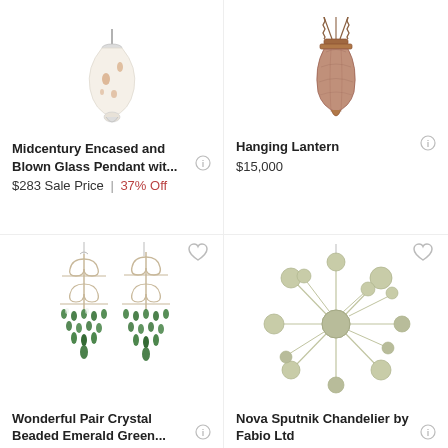[Figure (photo): White blown glass pendant lamp hanging, teardrop shape with orange/brown spots]
Midcentury Encased and Blown Glass Pendant wit...
$283 Sale Price | 37% Off
[Figure (photo): Hanging copper/bronze lantern with decorative chain]
Hanging Lantern
$15,000
[Figure (photo): Pair of ornate crystal beaded emerald green chandeliers with scrolled metal frames]
Wonderful Pair Crystal Beaded Emerald Green...
$1,650 / item
[Figure (photo): Nova Sputnik chandelier with cream/olive colored spheres on radiating arms]
Nova Sputnik Chandelier by Fabio Ltd
$9,600 / item